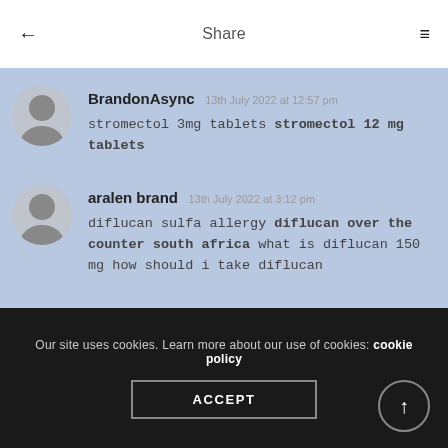Share
BrandonAsync  13th July 2022 at 12:57 pm
stromectol 3mg tablets stromectol 12 mg tablets
aralen brand  13th July 2022 at 3:12 pm
diflucan sulfa allergy diflucan over the counter south africa what is diflucan 150 mg how should i take diflucan
Our site uses cookies. Learn more about our use of cookies: cookie policy
ACCEPT